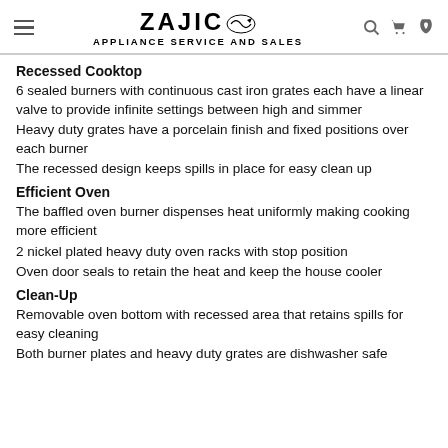ZAJIC APPLIANCE SERVICE AND SALES
Recessed Cooktop
6 sealed burners with continuous cast iron grates each have a linear valve to provide infinite settings between high and simmer
Heavy duty grates have a porcelain finish and fixed positions over each burner
The recessed design keeps spills in place for easy clean up
Efficient Oven
The baffled oven burner dispenses heat uniformly making cooking more efficient
2 nickel plated heavy duty oven racks with stop position
Oven door seals to retain the heat and keep the house cooler
Clean-Up
Removable oven bottom with recessed area that retains spills for easy cleaning
Both burner plates and heavy duty grates are dishwasher safe